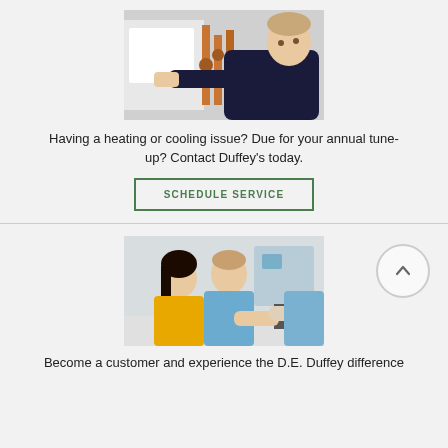[Figure (photo): Technician working on copper pipes and HVAC/boiler equipment, looking upward]
Having a heating or cooling issue? Due for your annual tune-up? Contact Duffey's today.
SCHEDULE SERVICE
[Figure (photo): A woman in a yellow top and a man in a blue shirt shaking hands with someone across a desk, smiling]
Become a customer and experience the D.E. Duffey difference